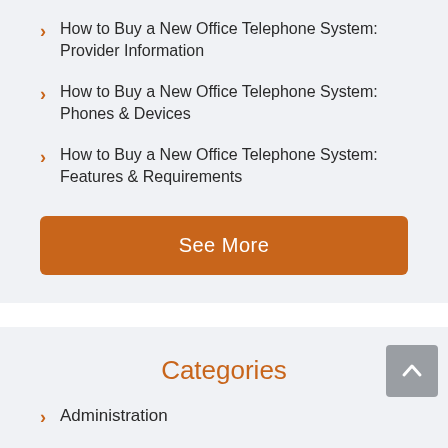How to Buy a New Office Telephone System: Provider Information
How to Buy a New Office Telephone System: Phones & Devices
How to Buy a New Office Telephone System: Features & Requirements
See More
Categories
Administration